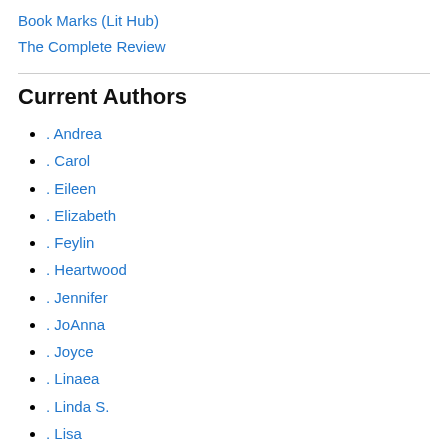Book Marks (Lit Hub)
The Complete Review
Current Authors
. Andrea
. Carol
. Eileen
. Elizabeth
. Feylin
. Heartwood
. Jennifer
. JoAnna
. Joyce
. Linaea
. Linda S.
. Lisa
. Margo
. Mindy